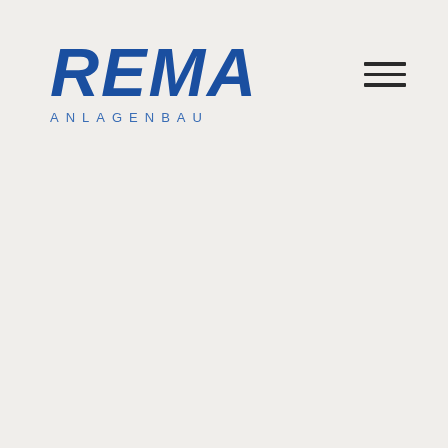[Figure (logo): REMA ANLAGENBAU company logo in bold italic blue text with 'ANLAGENBAU' in spaced smaller text below]
[Figure (other): Hamburger menu icon consisting of three horizontal dark lines]